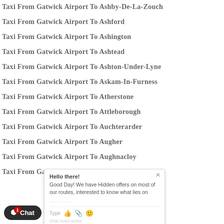Taxi From Gatwick Airport To Ashby-De-La-Zouch
Taxi From Gatwick Airport To Ashford
Taxi From Gatwick Airport To Ashington
Taxi From Gatwick Airport To Ashtead
Taxi From Gatwick Airport To Ashton-Under-Lyne
Taxi From Gatwick Airport To Askam-In-Furness
Taxi From Gatwick Airport To Atherstone
Taxi From Gatwick Airport To Attleborough
Taxi From Gatwick Airport To Auchterarder
Taxi From Gatwick Airport To Augher
Taxi From Gatwick Airport To Aughnacloy
Taxi From Gatwick Airport To Aviemore